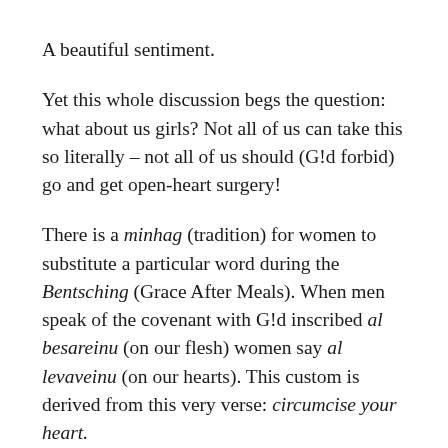A beautiful sentiment.
Yet this whole discussion begs the question: what about us girls? Not all of us can take this so literally – not all of us should (G!d forbid) go and get open-heart surgery!
There is a minhag (tradition) for women to substitute a particular word during the Bentsching (Grace After Meals). When men speak of the covenant with G!d inscribed al besareinu (on our flesh) women say al levaveinu (on our hearts). This custom is derived from this very verse: circumcise your heart.